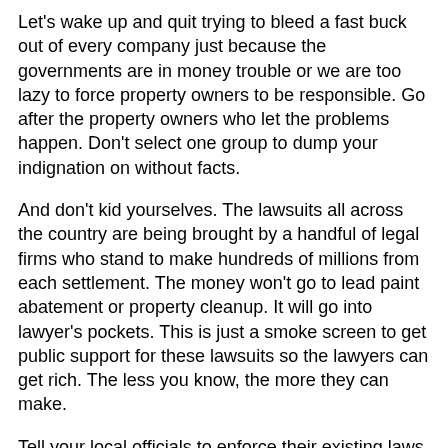Let's wake up and quit trying to bleed a fast buck out of every company just because the governments are in money trouble or we are too lazy to force property owners to be responsible. Go after the property owners who let the problems happen. Don't select one group to dump your indignation on without facts.
And don't kid yourselves. The lawsuits all across the country are being brought by a handful of legal firms who stand to make hundreds of millions from each settlement. The money won't go to lead paint abatement or property cleanup. It will go into lawyer's pockets. This is just a smoke screen to get public support for these lawsuits so the lawyers can get rich. The less you know, the more they can make.
Tell your local officials to enforce their existing laws and leave the companies alone. Tell your elected officials to back the Ohio law to block these lawsuits. Tell the governor to get off his butt and sign the law. Tell your city and state officials to drop their ridiculous lawsuits and spend YOUR money on something that will actually clean up the problems, rather than cleaning out your pockets. Put the money on the problem, rather than giving it to outside lawyers. Get the facts.